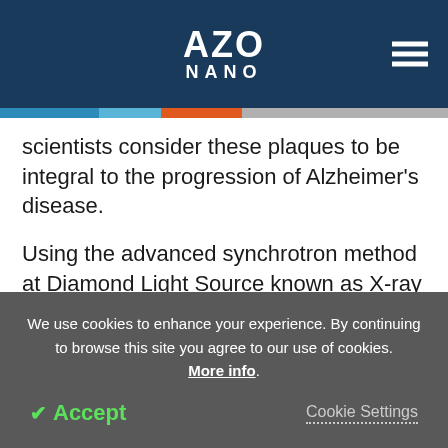AZO NANO
scientists consider these plaques to be integral to the progression of Alzheimer's disease.
Using the advanced synchrotron method at Diamond Light Source known as X-ray spectromicroscopy, the researchers detected nanoscale deposits of the metals (around 1/10000th the size of a pinhead) in post-mortem brain tissue donated by patients with Alzheimer's disease.
We use cookies to enhance your experience. By continuing to browse this site you agree to our use of cookies. More info.